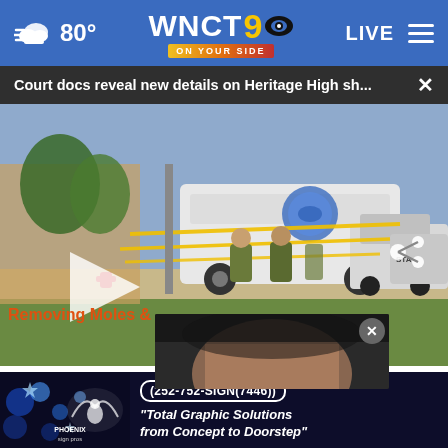80° WNCT 9 ON YOUR SIDE LIVE
Court docs reveal new details on Heritage High sh...
[Figure (screenshot): News video still showing police officers in tactical gear near a police armored vehicle, with yellow crime scene tape visible, outside a building.]
[Figure (screenshot): Partial popup ad showing a woman's face with text 'Removing Moles & Skin Tags Has...']
[Figure (other): Phoenix Sign Pros advertisement banner with phone number 252-752-SIGN(7446) and slogan 'Total Graphic Solutions from Concept to Doorstep']